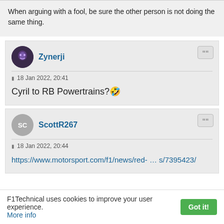When arguing with a fool, be sure the other person is not doing the same thing.
Zynerji
18 Jan 2022, 20:41
Cyril to RB Powertrains? 🤣
ScottR267
18 Jan 2022, 20:44
https://www.motorsport.com/f1/news/red- … s/7395423/
F1Technical uses cookies to improve your user experience. More info